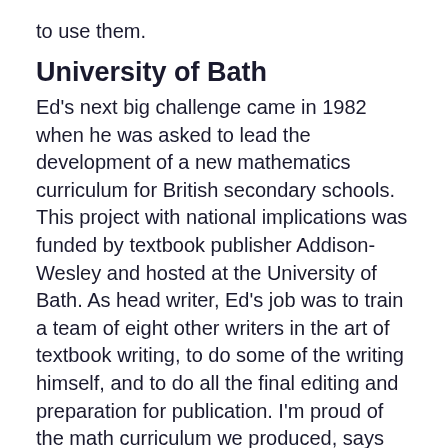to use them.
University of Bath
Ed's next big challenge came in 1982 when he was asked to lead the development of a new mathematics curriculum for British secondary schools. This project with national implications was funded by textbook publisher Addison-Wesley and hosted at the University of Bath. As head writer, Ed's job was to train a team of eight other writers in the art of textbook writing, to do some of the writing himself, and to do all the final editing and preparation for publication. I'm proud of the math curriculum we produced, says Ed, because it represented a fresh and exciting deviation from the curriculums that were common at that time.
While at the University of Bath, a new time came...